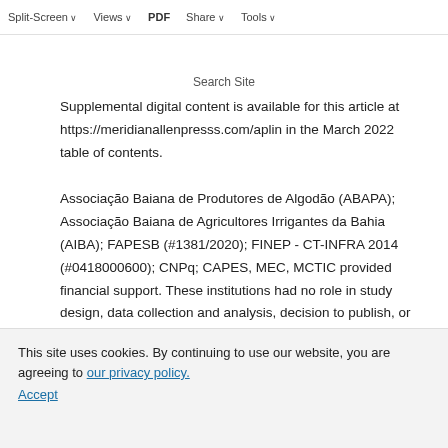Author notes
Split-Screen  Views  PDF  Share  Tools
Supplemental digital content is available for this article at https://meridianallenpresss.com/aplin in the March 2022 table of contents.
Associação Baiana de Produtores de Algodão (ABAPA); Associação Baiana de Agricultores Irrigantes da Bahia (AIBA); FAPESB (#1381/2020); FINEP - CT-INFRA 2014 (#0418000600); CNPq; CAPES, MEC, MCTIC provided financial support. These institutions had no role in study design, data collection and analysis, decision to publish, or preparation of the manuscript.
This site uses cookies. By continuing to use our website, you are agreeing to our privacy policy. Accept